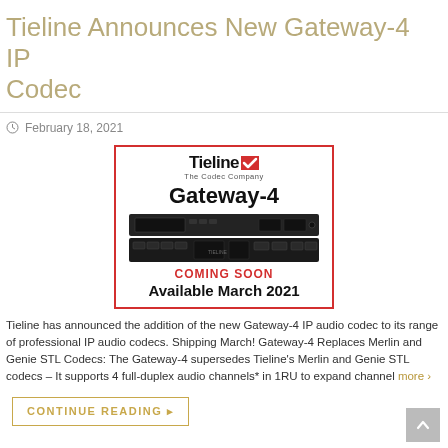Tieline Announces New Gateway-4 IP Codec
February 18, 2021
[Figure (photo): Product announcement image for Tieline Gateway-4 IP codec showing the Tieline logo, product name 'Gateway-4', front and rear rack unit photos, 'COMING SOON' text in red, and 'Available March 2021' text]
Tieline has announced the addition of the new Gateway-4 IP audio codec to its range of professional IP audio codecs. Shipping March! Gateway-4 Replaces Merlin and Genie STL Codecs: The Gateway-4 supersedes Tieline's Merlin and Genie STL codecs – It supports 4 full-duplex audio channels* in 1RU to expand channel more ›
CONTINUE READING ▸